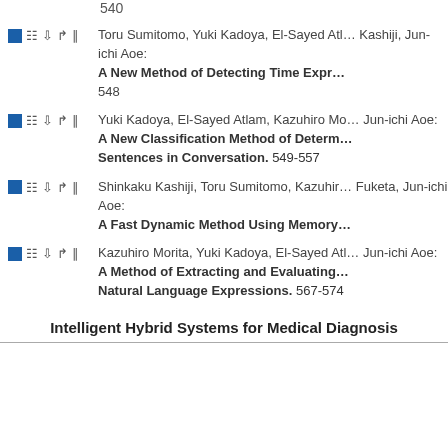540
Toru Sumitomo, Yuki Kadoya, El-Sayed Atlam, Shinkaku Kashiji, Jun-ichi Aoe: A New Method of Detecting Time Expressions. 548
Yuki Kadoya, El-Sayed Atlam, Kazuhiro Morita, Jun-ichi Aoe: A New Classification Method of Determining Declarative Sentences in Conversation. 549-557
Shinkaku Kashiji, Toru Sumitomo, Kazuhiro Morita, Masao Fuketa, Jun-ichi Aoe: A Fast Dynamic Method Using Memory.
Kazuhiro Morita, Yuki Kadoya, El-Sayed Atlam, Jun-ichi Aoe: A Method of Extracting and Evaluating Natural Language Expressions. 567-574
Intelligent Hybrid Systems for Medical Diagnosis